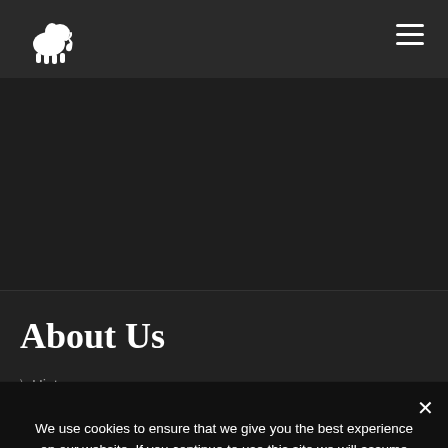[Figure (logo): White elephant logo in top navigation bar]
Navigation bar with hamburger menu icon
About Us
> History
We use cookies to ensure that we give you the best experience on our website. If you continue to use this site we will assume that you are happy with it.
ok   Privacy policy